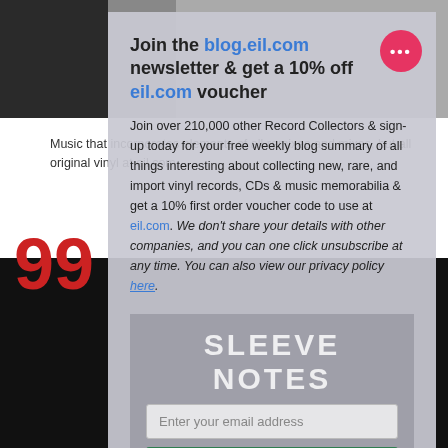[Figure (screenshot): Background page showing album photos at top, text about music/remixes/mixes and vinyl, play/shuffle bar, and INCLUDING section with blue underline]
[Figure (screenshot): Newsletter popup overlay: 'Join the blog.eil.com newsletter & get a 10% off eil.com voucher' with body text about joining 210,000 Record Collectors, weekly blog summary, vinyl records, CDs, music memorabilia, 10% first order voucher code, privacy policy link. Pink more-options button top right.]
[Figure (screenshot): Sleeve Notes signup section with email input and green Subscribe and get Voucher Code button]
[Figure (screenshot): Large red '99' on black background bottom left]
We use cookies to ensure that we give you the best experience on our website. If you continue to use this site we will assume that you are happy with it.
[Figure (screenshot): CLOSE X button at bottom of popup/cookie overlay]